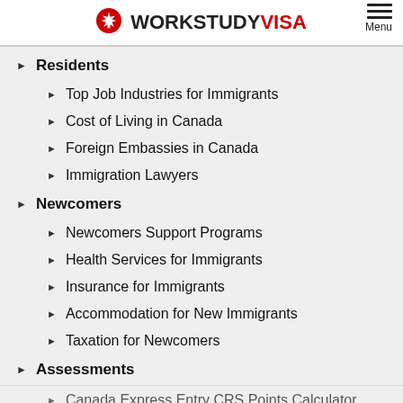WORKSTUDY VISA — Menu
Residents
Top Job Industries for Immigrants
Cost of Living in Canada
Foreign Embassies in Canada
Immigration Lawyers
Newcomers
Newcomers Support Programs
Health Services for Immigrants
Insurance for Immigrants
Accommodation for New Immigrants
Taxation for Newcomers
Assessments
Canada Express Entry CRS Points Calculator